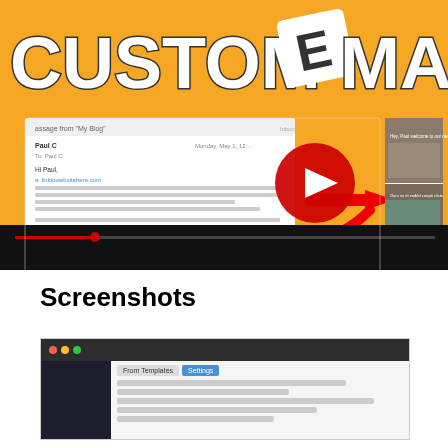[Figure (screenshot): Video thumbnail showing CustomEmails plugin promotional image with YouTube play button, email screenshot on left and newsletter template on right with orange background. Below it a black control bar.]
Screenshots
[Figure (screenshot): Screenshot of a WordPress admin panel showing the CustomEmails plugin interface with Form Templates tab selected.]